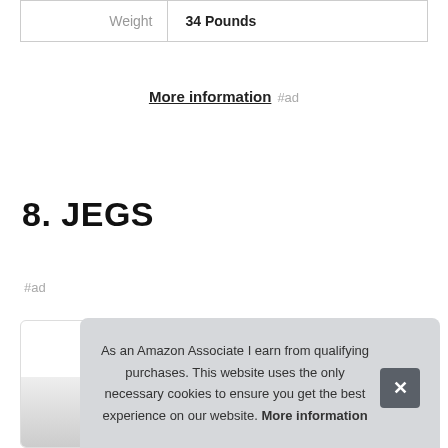| Weight | 34 Pounds |
More information #ad
8. JEGS
#ad
[Figure (photo): Product image partially visible at bottom of page]
As an Amazon Associate I earn from qualifying purchases. This website uses the only necessary cookies to ensure you get the best experience on our website. More information